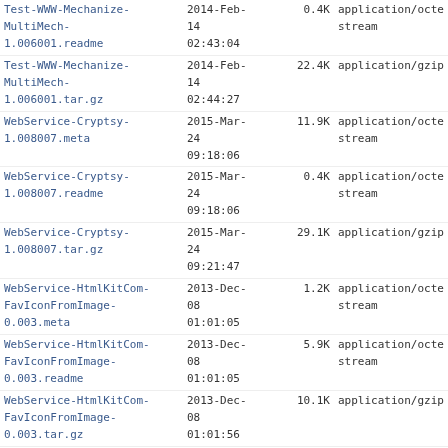| Name | Date | Size | Type |
| --- | --- | --- | --- |
| Test-WWW-Mechanize-MultiMech-1.006001.readme | 2014-Feb-14 02:43:04 | 0.4K | application/octet-stream |
| Test-WWW-Mechanize-MultiMech-1.006001.tar.gz | 2014-Feb-14 02:44:27 | 22.4K | application/gzip |
| WebService-Cryptsy-1.008007.meta | 2015-Mar-24 09:18:06 | 11.9K | application/octet-stream |
| WebService-Cryptsy-1.008007.readme | 2015-Mar-24 09:18:06 | 0.4K | application/octet-stream |
| WebService-Cryptsy-1.008007.tar.gz | 2015-Mar-24 09:21:47 | 29.1K | application/gzip |
| WebService-HtmlKitCom-FavIconFromImage-0.003.meta | 2013-Dec-08 01:01:05 | 1.2K | application/octet-stream |
| WebService-HtmlKitCom-FavIconFromImage-0.003.readme | 2013-Dec-08 01:01:05 | 5.9K | application/octet-stream |
| WebService-HtmlKitCom-FavIconFromImage-0.003.tar.gz | 2013-Dec-08 01:01:56 | 10.1K | application/gzip |
| WebService-HtmlKitCom-FavIconFromImage-1.001001.meta | 2015-Mar-29 06:30:06 | 11.8K | application/octet-stream |
| WebService-HtmlKitCom-FavIconFromImage-1.001001.readme | 2015-Mar-29 06:30:06 | 0.4K | application/octet-stream |
| WebService-HtmlKitCom-FavIconFromImage- | 2015-Mar-29 | 17.8K | application/gzip |